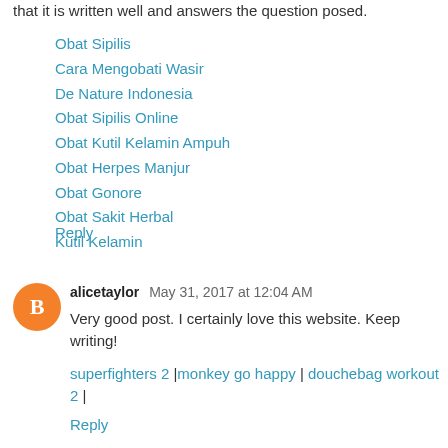that it is written well and answers the question posed.
Obat Sipilis
Cara Mengobati Wasir
De Nature Indonesia
Obat Sipilis Online
Obat Kutil Kelamin Ampuh
Obat Herpes Manjur
Obat Gonore
Obat Sakit Herbal
Kutil Kelamin
Reply
alicetaylor  May 31, 2017 at 12:04 AM
Very good post. I certainly love this website. Keep writing!
superfighters 2  |monkey go happy | douchebag workout 2 |
Reply